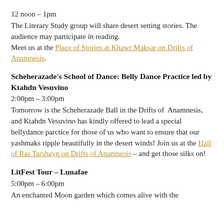12 noon – 1pm
The Literary Study group will share desert setting stories. The audience may participate in reading. Meet us at the Place of Stories at Khawr Maksar on Drifts of Anamnesis.
Scheherazade's School of Dance: Belly Dance Practice led by Ktahdn Vesuvino
2:00pm – 3:00pm
Tomorrow is the Scheherazade Ball in the Drifts of Anamnesis, and Ktahdn Vesuvino has kindly offered to lead a special bellydance parctice for those of us who want to ensure that our yashmaks ripple beautifully in the desert winds! Join us at the Hall of Ras Tarshayn on Drifts of Anamnesis – and get those silks on!
LitFest Tour – Lunafae
5:00pm – 6:00pm
An enchanted Moon garden which comes alive with the